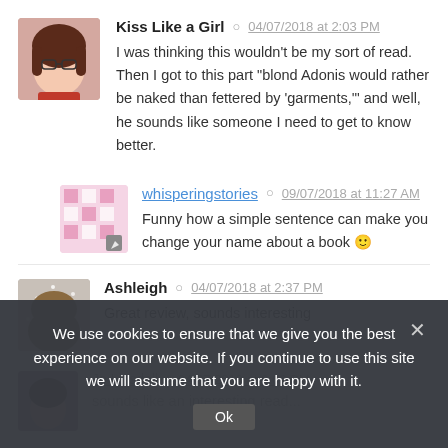Kiss Like a Girl  04/07/2018 at 2:03 PM
I was thinking this wouldn't be my sort of read. Then I got to this part "blond Adonis would rather be naked than fettered by 'garments,'" and well, he sounds like someone I need to get to know better.
whisperingstories  09/07/2018 at 11:27 AM
Funny how a simple sentence can make you change your name about a book 🙂
Ashleigh  04/07/2018 at 2:37 PM
Great review, sounds interesting
We use cookies to ensure that we give you the best experience on our website. If you continue to use this site we will assume that you are happy with it.
Jo Linsdell  04/07/2018 at 3:06 PM
sounds like an interesting read...